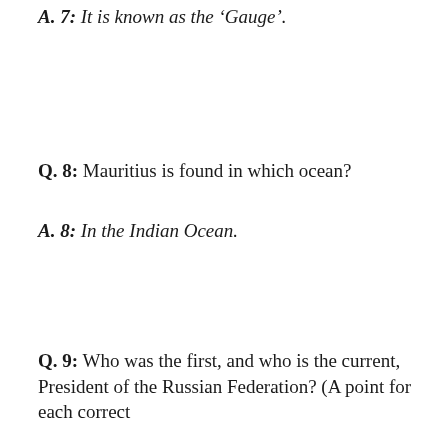A.  7:  It is known as the 'Gauge'.
Q.  8:  Mauritius is found in which ocean?
A.  8:  In the Indian Ocean.
Q.  9:  Who was the first, and who is the current, President of the Russian Federation? (A point for each correct